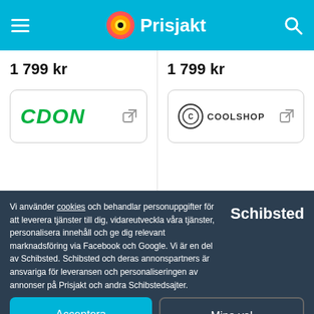Prisjakt
1 799 kr
1 799 kr
[Figure (logo): CDON green italic logo with external link icon]
[Figure (logo): Coolshop logo with circular C mark and external link icon]
Vi använder cookies och behandlar personuppgifter för att leverera tjänster till dig, vidareutveckla våra tjänster, personalisera innehåll och ge dig relevant marknadsföring via Facebook och Google. Vi är en del av Schibsted. Schibsted och deras annonspartners är ansvariga för leveransen och personaliseringen av annonser på Prisjakt och andra Schibstedsajter.
[Figure (logo): Schibsted white logo]
Acceptera
Mina val